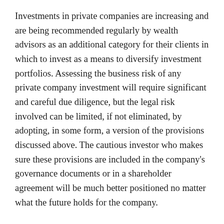Investments in private companies are increasing and are being recommended regularly by wealth advisors as an additional category for their clients in which to invest as a means to diversify investment portfolios. Assessing the business risk of any private company investment will require significant and careful due diligence, but the legal risk involved can be limited, if not eliminated, by adopting, in some form, a version of the provisions discussed above. The cautious investor who makes sure these provisions are included in the company's governance documents or in a shareholder agreement will be much better positioned no matter what the future holds for the company.
Tags: Business Divorce, Investor Checklist